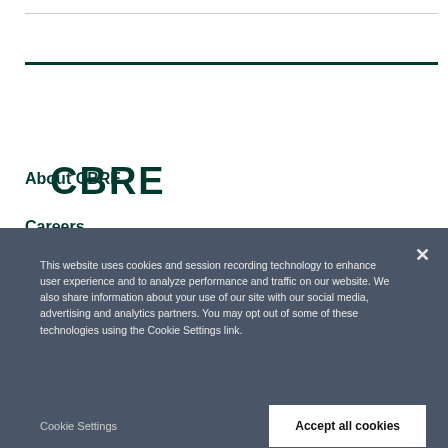[Figure (logo): CBRE company logo in dark green bold text]
About CBRE
Careers
Corporate Responsibility
This website uses cookies and session recording technology to enhance user experience and to analyze performance and traffic on our website. We also share information about your use of our site with our social media, advertising and analytics partners. You may opt out of some of these technologies using the Cookie Settings link.
Cookie Settings
Accept all cookies